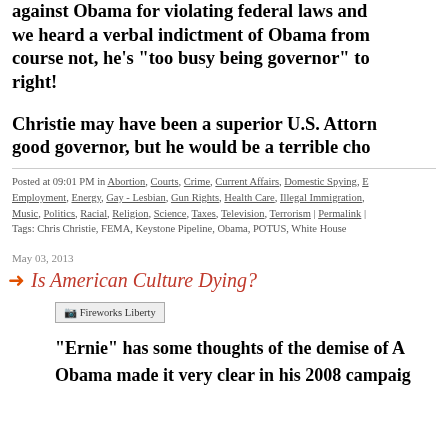against Obama for violating federal laws and we heard a verbal indictment of Obama from course not, he's "too busy being governor" to right!
Christie may have been a superior U.S. Attorn good governor, but he would be a terrible cho
Posted at 09:01 PM in Abortion, Courts, Crime, Current Affairs, Domestic Spying, E Employment, Energy, Gay - Lesbian, Gun Rights, Health Care, Illegal Immigration, Music, Politics, Racial, Religion, Science, Taxes, Television, Terrorism | Permalink |
Tags: Chris Christie, FEMA, Keystone Pipeline, Obama, POTUS, White House
May 03, 2013
Is American Culture Dying?
[Figure (photo): Fireworks Liberty image placeholder]
"Ernie" has some thoughts of the demise of A
Obama made it very clear in his 2008 campaig